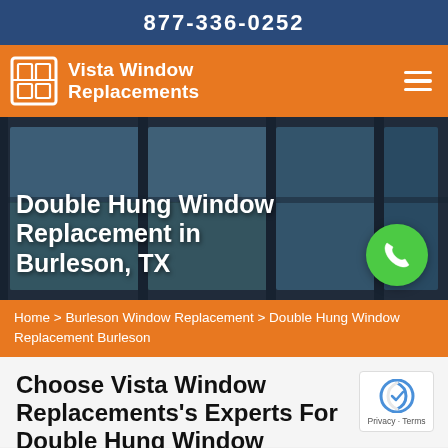877-336-0252
[Figure (logo): Vista Window Replacements logo with window icon on orange background and hamburger menu icon]
[Figure (photo): Large modern black-framed windows with scenic view in the background, hero image for Double Hung Window Replacement in Burleson, TX]
Double Hung Window Replacement in Burleson, TX
Home > Burleson Window Replacement > Double Hung Window Replacement Burleson
Choose Vista Window Replacements's Experts For Double Hung Window